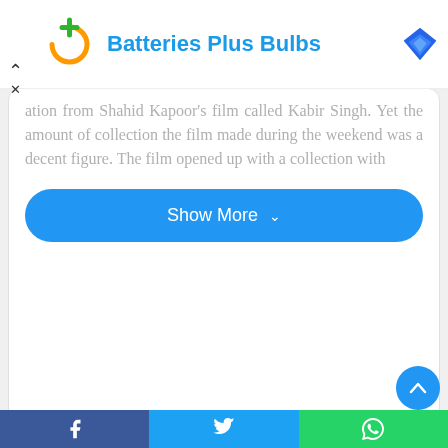[Figure (logo): Batteries Plus Bulbs ad banner with logo and title]
ation from Shahid Kapoor's film called Kabir Singh. Yet the amount of collection the film made during the weekend was a decent figure. The film opened up with a collection with
Show More ∨
[Figure (photo): Generic user avatar silhouette icon in gray]
Ganesh
Is a Senior Content writer and have been into the content domain from more than a decade. He has dealt with diverse areas in content writing.